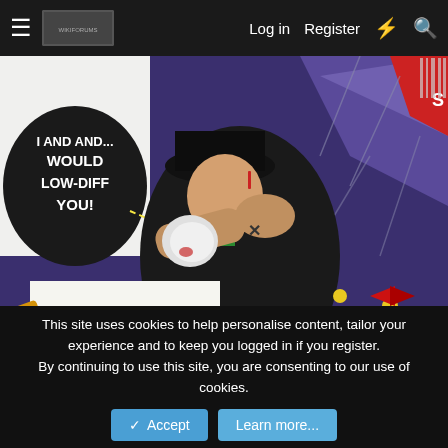Log in  Register
[Figure (illustration): Anime/manga style fan art illustration showing two characters fighting. One character wearing a black hat and dark coat labeled 'TOAD' appears to be punching another character. A speech bubble reads 'I AND AND... WOULD LOW-DIFF YOU!' The background is dark purple with geometric shapes.]
This site uses cookies to help personalise content, tailor your experience and to keep you logged in if you register.
By continuing to use this site, you are consenting to our use of cookies.
Accept   Learn more...